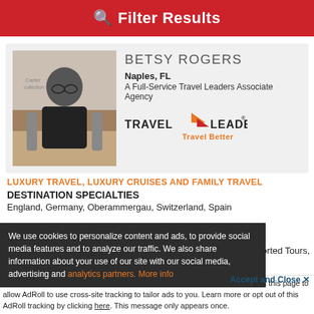Filter Results
BETSY ROGERS
Naples, FL
A Full-Service Travel Leaders Associate Agency
[Figure (logo): Travel Leaders logo with orange arrow and 'Travel Better' tagline]
LUXURY TRAVEL, LUXURY CRUISES AND FAMILY TRAVEL
DESTINATION SPECIALTIES
England, Germany, Oberammergau, Switzerland, Spain
We use cookies to personalize content and ads, to provide social media features and to analyze our traffic. We also share information about your use of our site with our social media, advertising and analytics partners. More info
, Escorted Tours,
Accept and Close ✕
Your browser settings do not allow cross-site tracking for advertising. Click on this page to allow AdRoll to use cross-site tracking to tailor ads to you. Learn more or opt out of this AdRoll tracking by clicking here. This message only appears once.